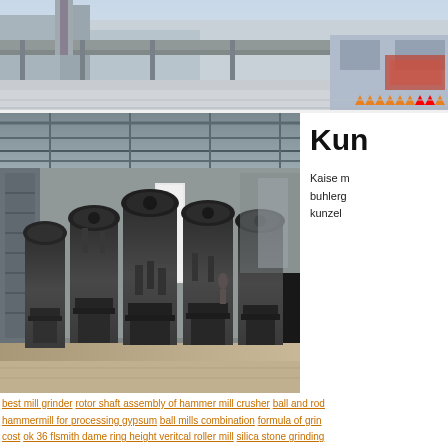[Figure (photo): Top banner photo of an industrial facility/plant exterior with buildings and traffic cones visible]
[Figure (photo): Interior of industrial facility showing a row of large grey vertical mill grinder machines lined up on a factory floor with overhead steel structure roof]
Kun
Kaise m
buhlerge
kunzel
best mill grinder rotor shaft assembly of hammer mill crusher ball and rod hammermill for processing gypsum ball mills combination formula of grin cost ok 36 flsmith dame ring height veritcal roller mill silica stone grinding